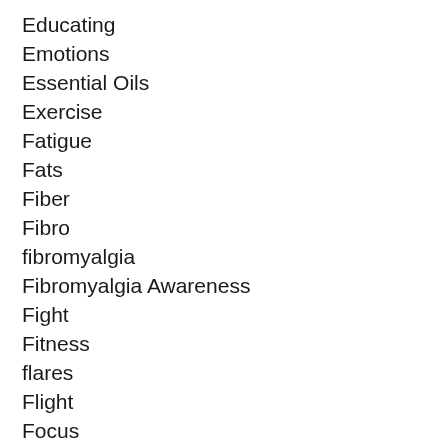Educating
Emotions
Essential Oils
Exercise
Fatigue
Fats
Fiber
Fibro
fibromyalgia
Fibromyalgia Awareness
Fight
Fitness
flares
Flight
Focus
Freeze